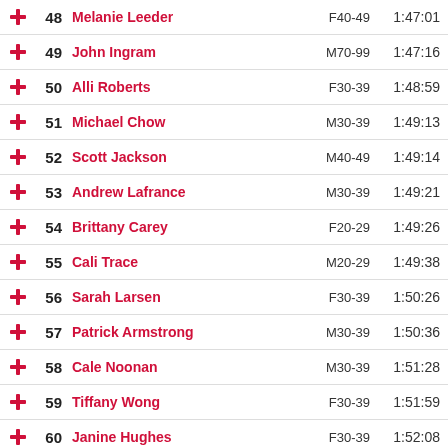|  | Rank | Name | Category | Time |
| --- | --- | --- | --- | --- |
|  | 48 | Melanie Leeder | F40-49 | 1:47:01 |
|  | 49 | John Ingram | M70-99 | 1:47:16 |
|  | 50 | Alli Roberts | F30-39 | 1:48:59 |
|  | 51 | Michael Chow | M30-39 | 1:49:13 |
|  | 52 | Scott Jackson | M40-49 | 1:49:14 |
|  | 53 | Andrew Lafrance | M30-39 | 1:49:21 |
|  | 54 | Brittany Carey | F20-29 | 1:49:26 |
|  | 55 | Cali Trace | M20-29 | 1:49:38 |
|  | 56 | Sarah Larsen | F30-39 | 1:50:26 |
|  | 57 | Patrick Armstrong | M30-39 | 1:50:36 |
|  | 58 | Cale Noonan | M30-39 | 1:51:28 |
|  | 59 | Tiffany Wong | F30-39 | 1:51:59 |
|  | 60 | Janine Hughes | F30-39 | 1:52:08 |